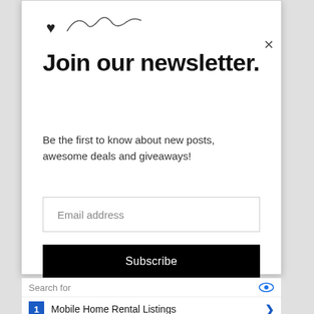[Figure (illustration): Partial handwritten signature with a small heart symbol, partially visible at top of modal]
Join our newsletter.
Be the first to know about new posts, awesome deals and giveaways!
Email address
Subscribe
[Figure (screenshot): Advertisement widget showing 'Search for' bar with two results: 1. Mobile Home Rental Listings, 2. Lake Cottage Homes]